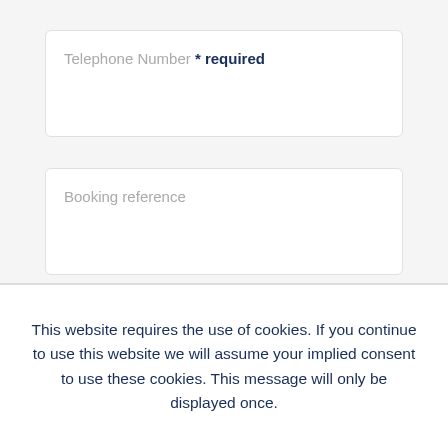Telephone Number * required
Booking reference
Reason for contact * required
Select one...
This website requires the use of cookies. If you continue to use this website we will assume your implied consent to use these cookies. This message will only be displayed once.